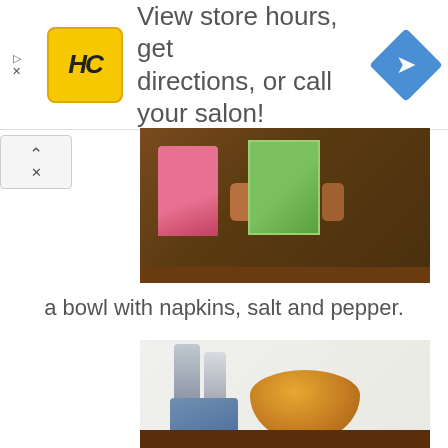[Figure (infographic): Advertisement banner: HC (Hair Club) logo on yellow square, text 'View store hours, get directions, or call your salon!', blue diamond navigation icon on right]
[Figure (photo): Photo of a rustic wooden shelf with colorful cloths/napkins hanging from wooden spools, with watermark 'Beyond the Picket Fence']
a bowl with napkins, salt and pepper.
[Figure (photo): Photo of a rustic wooden shelf with a yellow ceramic bowl, salt and pepper shakers, and blue cloth, with a green painted shelf below]